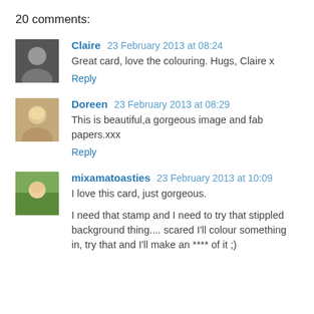20 comments:
Claire 23 February 2013 at 08:24
Great card, love the colouring. Hugs, Claire x
Reply
Doreen 23 February 2013 at 08:29
This is beautiful,a gorgeous image and fab papers.xxx
Reply
mixamatoasties 23 February 2013 at 10:09
I love this card, just gorgeous.
I need that stamp and I need to try that stippled background thing.... scared I'll colour something in, try that and I'll make an **** of it ;)